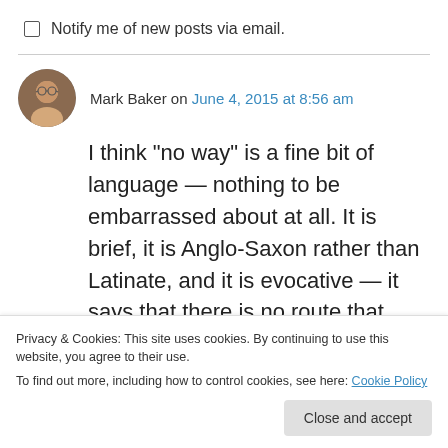Notify me of new posts via email.
Mark Baker on June 4, 2015 at 8:56 am
I think “no way” is a fine bit of language — nothing to be embarrassed about at all. It is brief, it is Anglo-Saxon rather than Latinate, and it is evocative — it says that there is no route that should bring us to the place. But there I have to use the latinate “route” to clarify the Anglo-Saxon
Privacy & Cookies: This site uses cookies. By continuing to use this website, you agree to their use.
To find out more, including how to control cookies, see here: Cookie Policy
Close and accept
more proper than the Anglo-Saxon roots of the